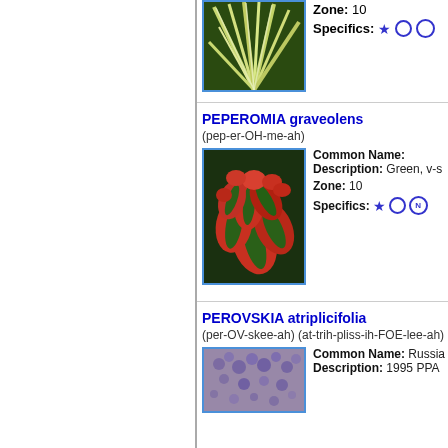[Figure (photo): Close-up photo of a plant with green and white striped grass-like leaves at the top of the page]
Zone: 10
Specifics: ★ ○ ⊙
PEPEROMIA graveolens
(pep-er-OH-me-ah)
[Figure (photo): Photo of Peperomia graveolens plant with red and green succulent leaves]
Common Name:
Description: Green, v-s
Zone: 10
Specifics: ★ ○ N
PEROVSKIA atriplicifolia
(per-OV-skee-ah) (at-trih-pliss-ih-FOE-lee-ah)
[Figure (photo): Photo of Perovskia atriplicifolia plant with purple flowers]
Common Name: Russia
Description: 1995 PPA